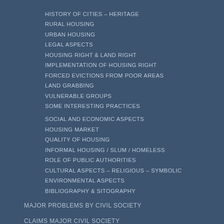HISTORY OF CITIES – HERITAGE
RURAL HOUSING
URBAN HOUSING
LEGAL ASPECTS
HOUSING RIGHT & LAND RIGHT
IMPLEMENTATION OF HOUSING RIGHT
FORCED EVICTIONS FROM POOR AREAS
LAND GRABBING
VULNERABLE GROUPS
SOME INTERESTING PRACTICES
SOCIAL AND ECONOMIC ASPECTS
HOUSING MARKET
QUALITY OF HOUSING
INFORMAL HOUSING / SLUM / HOMELESS
ROLE OF PUBLIC AUTHORITIES
CULTURAL ASPECTS – RELIGIOUS – SYMBOLIC
ENVIRONMENTAL ASPECTS
BIBLIOGRAPHY & SITOGRAPHY
MAJOR PROBLEMS BY CIVIL SOCIETY
CLAIMS MAJOR CIVIL SOCIETY